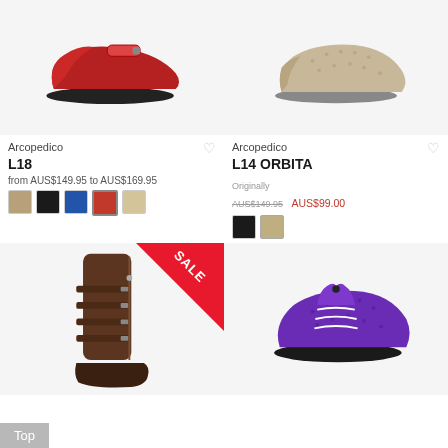[Figure (photo): Red flat shoe with velcro strap on dark sole, top-left product card]
Arcopedico
L18
from AUS$149.95 to AUS$169.95
[Figure (photo): Beige textured knit sneaker/flat shoe, top-right product card]
Arcopedico
L14 ORBITA
Originally AUS$149.95  AUS$99.00
[Figure (photo): Brown tall boot with multiple strap buckles and side zipper, SALE badge, bottom-left product card]
[Figure (photo): Purple knit lace-up sneaker with black sole, bottom-right product card]